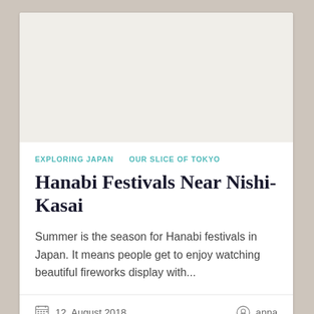[Figure (photo): Empty white/light beige image area at top of card]
EXPLORING JAPAN    OUR SLICE OF TOKYO
Hanabi Festivals Near Nishi-Kasai
Summer is the season for Hanabi festivals in Japan. It means people get to enjoy watching beautiful fireworks display with...
12. August 2018    anna